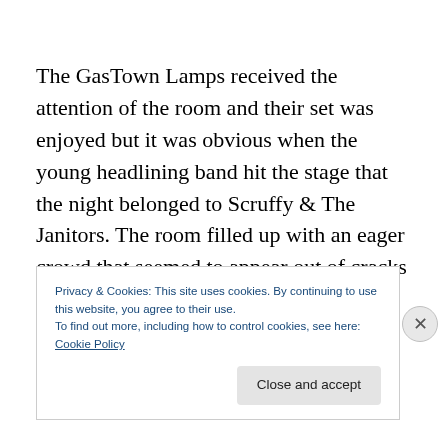The GasTown Lamps received the attention of the room and their set was enjoyed but it was obvious when the young headlining band hit the stage that the night belonged to Scruffy & The Janitors. The room filled up with an eager crowd that seemed to appear out of cracks in the walls. The first song ushered in a crowd that seemed to double the existing attendance just minutes earlier. The
Privacy & Cookies: This site uses cookies. By continuing to use this website, you agree to their use.
To find out more, including how to control cookies, see here: Cookie Policy
Close and accept